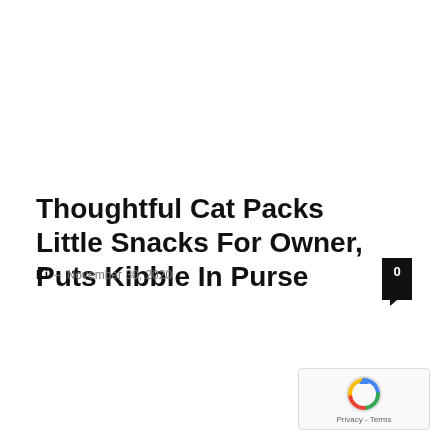Thoughtful Cat Packs Little Snacks For Owner, Puts Kibble In Purse
Ki  –  November 30, 2020
[Figure (logo): reCAPTCHA badge with spinning arrow icon and Privacy - Terms text]